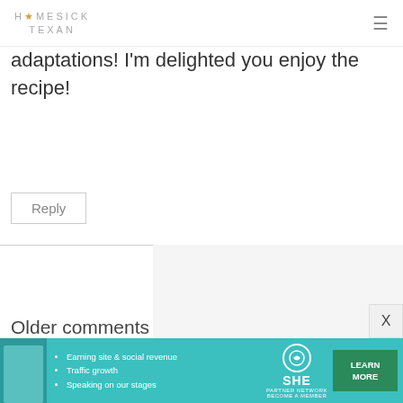HOMESICK TEXAN
adaptations! I'm delighted you enjoy the recipe!
Reply
Older comments
[Figure (infographic): SHE Partner Network advertisement banner with bullet points: Earning site & social revenue, Traffic growth, Speaking on our stages. Includes LEARN MORE button and SHE logo.]